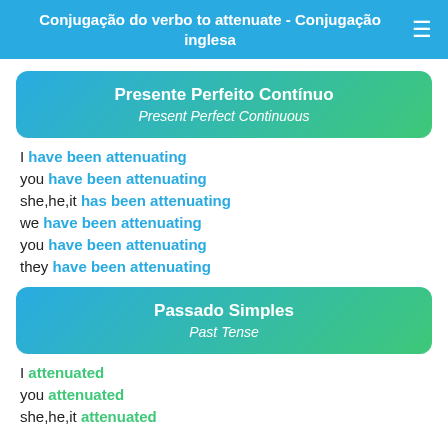Conjugação do verbo to attenuate - Conjugação inglesa
Presente Perfeito Contínuo / Present Perfect Continuous
I have been attenuating
you have been attenuating
she,he,it has been attenuating
we have been attenuating
you have been attenuating
they have been attenuating
Passado Simples / Past Tense
I attenuated
you attenuated
she,he,it attenuated